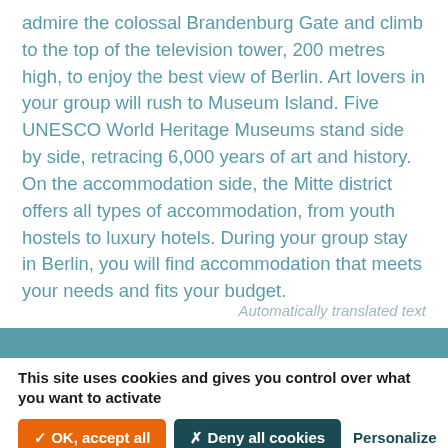admire the colossal Brandenburg Gate and climb to the top of the television tower, 200 metres high, to enjoy the best view of Berlin. Art lovers in your group will rush to Museum Island. Five UNESCO World Heritage Museums stand side by side, retracing 6,000 years of art and history. On the accommodation side, the Mitte district offers all types of accommodation, from youth hostels to luxury hotels. During your group stay in Berlin, you will find accommodation that meets your needs and fits your budget.
Automatically translated text
[Figure (other): Diagonal teal/dark teal decorative banner graphic]
This site uses cookies and gives you control over what you want to activate
✓ OK, accept all
✗ Deny all cookies
Personalize
Privacy policy